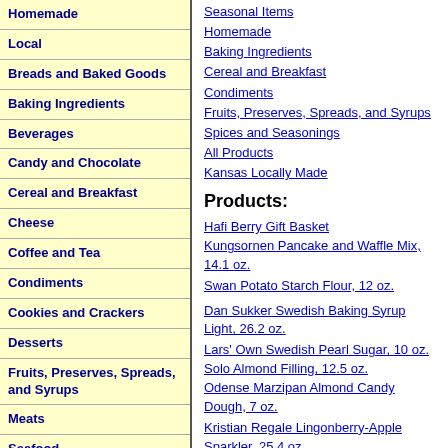Homemade
Local
Breads and Baked Goods
Baking Ingredients
Beverages
Candy and Chocolate
Cereal and Breakfast
Cheese
Coffee and Tea
Condiments
Cookies and Crackers
Desserts
Fruits, Preserves, Spreads, and Syrups
Meats
Seafood
Spices and Seasonings
Vegetables, Rice, and Lentils
Seasonal Items
Homemade
Baking Ingredients
Cereal and Breakfast
Condiments
Fruits, Preserves, Spreads, and Syrups
Spices and Seasonings
All Products
Kansas Locally Made
Products:
Hafi Berry Gift Basket
Kungsornen Pancake and Waffle Mix, 14.1 oz.
Swan Potato Starch Flour, 12 oz.
Dan Sukker Swedish Baking Syrup Light, 26.2 oz.
Lars' Own Swedish Pearl Sugar, 10 oz.
Solo Almond Filling, 12.5 oz.
Odense Marzipan Almond Candy Dough, 7 oz.
Kristian Regale Lingonberry-Apple Sparkler, 25.4 oz.
Grandpa Lundquist JulMust Christmas...